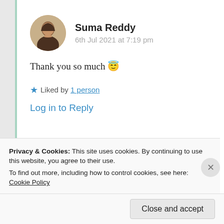Suma Reddy
6th Jul 2021 at 7:19 pm
Thank you so much 😇
★ Liked by 1 person
Log in to Reply
Privacy & Cookies: This site uses cookies. By continuing to use this website, you agree to their use.
To find out more, including how to control cookies, see here: Cookie Policy
Close and accept